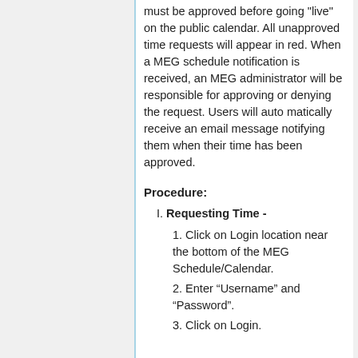must be approved before going "live" on the public calendar. All unapproved time requests will appear in red. When a MEG schedule notification is received, an MEG administrator will be responsible for approving or denying the request. Users will auto matically receive an email message notifying them when their time has been approved.
Procedure:
I. Requesting Time -
1. Click on Login location near the bottom of the MEG Schedule/Calendar.
2. Enter “Username” and “Password”.
3. Click on Login.